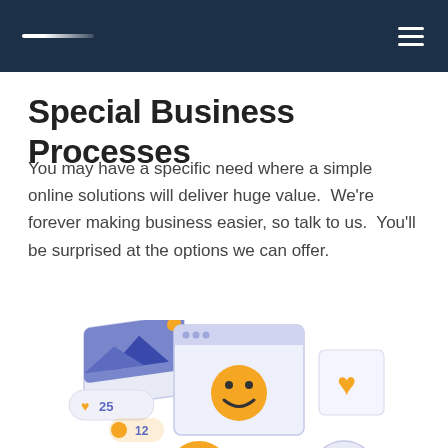Special Business Processes
You may have a specific need where a simple online solutions will deliver huge value.  We're forever making business easier, so talk to us.  You'll be surprised at the options we can offer.
[Figure (illustration): Isometric illustration of web browser windows and social media UI elements including a photo card with a mountain image and orange dot, a likes counter showing 28, a comments counter showing 12, a smiley face emoji, a heart icon, and a music note icon, all arranged in a layered, floating perspective.]